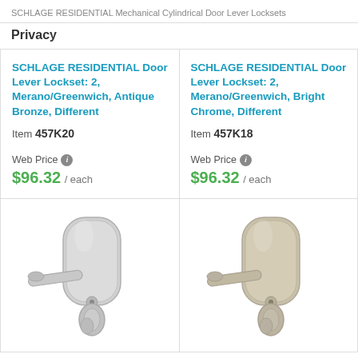SCHLAGE RESIDENTIAL Mechanical Cylindrical Door Lever Locksets
Privacy
| Product 1 | Product 2 |
| --- | --- |
| SCHLAGE RESIDENTIAL Door Lever Lockset: 2, Merano/Greenwich, Antique Bronze, Different
Item 457K20
Web Price $96.32 / each | SCHLAGE RESIDENTIAL Door Lever Lockset: 2, Merano/Greenwich, Bright Chrome, Different
Item 457K18
Web Price $96.32 / each |
| [Image: Door lever lockset, bright chrome] | [Image: Door lever lockset, satin nickel] |